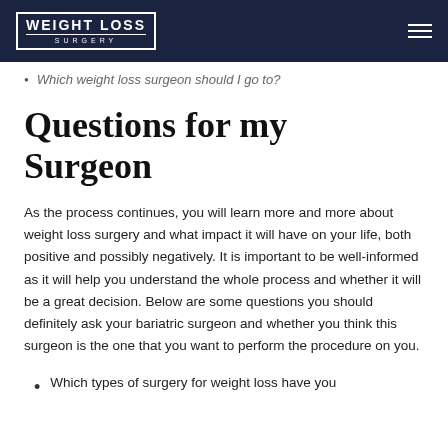WEIGHT LOSS SURGERY
Which weight loss surgeon should I go to?
Questions for my Surgeon
As the process continues, you will learn more and more about weight loss surgery and what impact it will have on your life, both positive and possibly negatively. It is important to be well-informed as it will help you understand the whole process and whether it will be a great decision. Below are some questions you should definitely ask your bariatric surgeon and whether you think this surgeon is the one that you want to perform the procedure on you.
Which types of surgery for weight loss have you